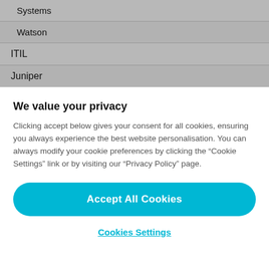| Systems |
| Watson |
| ITIL |
| Juniper |
We value your privacy
Clicking accept below gives your consent for all cookies, ensuring you always experience the best website personalisation. You can always modify your cookie preferences by clicking the “Cookie Settings” link or by visiting our “Privacy Policy” page.
Accept All Cookies
Cookies Settings